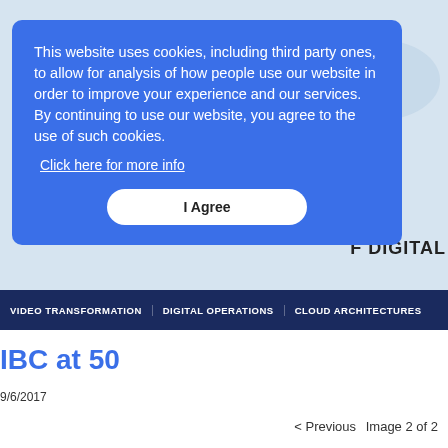[Figure (screenshot): Website hero image with light blue/grey background showing a partial world map graphic]
This website uses cookies, including third party ones, to allow for analysis of how people use our website in order to improve your experience and our services. By continuing to use our website, you agree to the use of such cookies.
Click here for more info
I Agree
F DIGITAL
VIDEO TRANSFORMATION   DIGITAL OPERATIONS   CLOUD ARCHITECTURES
IBC at 50
9/6/2017
< Previous   Image 2 of 2